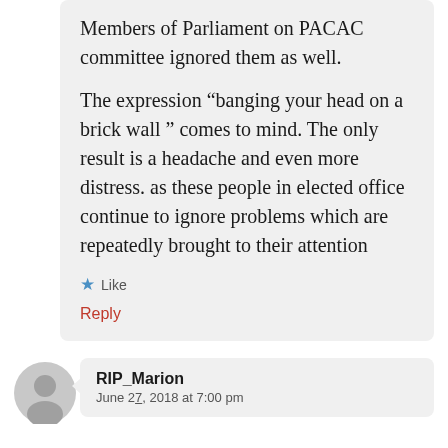Members of Parliament on PACAC committee ignored them as well.

The expression “banging your head on a brick wall” comes to mind. The only result is a headache and even more distress. as these people in elected office continue to ignore problems which are repeatedly brought to their attention
★ Like
Reply
RIP_Marion
June 27, 2018 at 7:00 pm